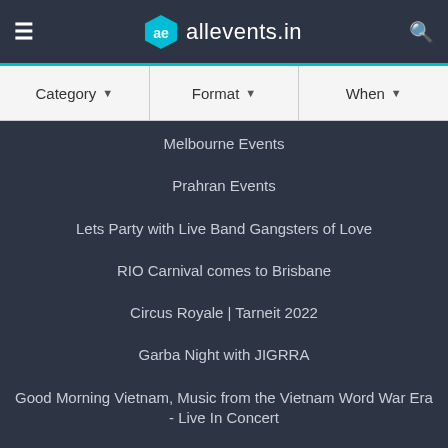allevents.in
Category
Format
When
Melbourne Events
Prahran Events
Lets Party with Live Band Gangsters of Love
RIO Carnival comes to Brisbane
Circus Royale | Tarneit 2022
Garba Night with JIGRRA
Good Morning Vietnam, Music from the Vietnam Word War Era - Live In Concert
Urban Wine Walk // Hobart (TAS)
Canberra's Annual Wedding Expo 2022